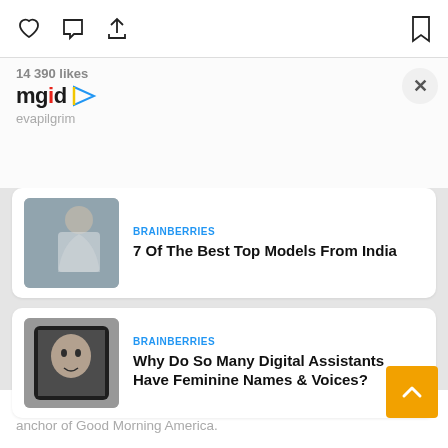[Figure (screenshot): Top bar with heart, comment, share, and bookmark icons]
14 390 likes
[Figure (logo): mgid logo with play button triangle]
evapilgrim
[Figure (screenshot): BRAINBERRIES ad card with woman in white top - 7 Of The Best Top Models From India]
BRAINBERRIES
7 Of The Best Top Models From India
[Figure (screenshot): BRAINBERRIES ad card with digital tablet showing woman face - Why Do So Many Digital Assistants Have Feminine Names & Voices?]
BRAINBERRIES
Why Do So Many Digital Assistants Have Feminine Names & Voices?
Pilgrim is a correspondent for ABC News. She is also a weekend co-anchor of Good Morning America.
Pilgrim joined ABC News in 2016. While there she has covered breaking stories such as the 2017 protests in Charlottesville, Minnesota's reaction to Prince's death, and the impact the opioid epidemic that followed. She…